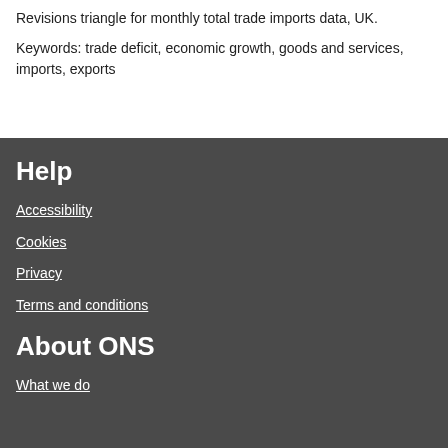Revisions triangle for monthly total trade imports data, UK.
Keywords: trade deficit, economic growth, goods and services, imports, exports
Help
Accessibility
Cookies
Privacy
Terms and conditions
About ONS
What we do